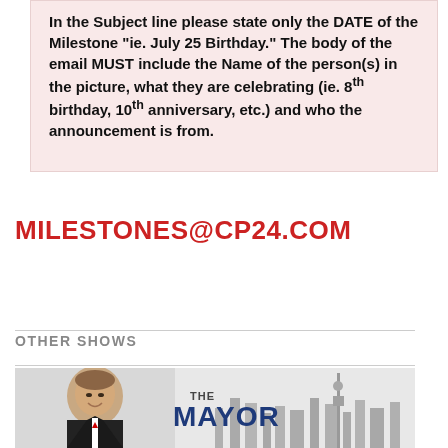In the Subject line please state only the DATE of the Milestone „ie. July 25 Birthday.“ The body of the email MUST include the Name of the person(s) in the picture, what they are celebrating (ie. 8th birthday, 10th anniversary, etc.) and who the announcement is from.
MILESTONES@CP24.COM
OTHER SHOWS
[Figure (photo): Promotional image for 'The Mayor' show on CP24, showing a smiling middle-aged man in a suit with a city skyline in the background and the text 'THE MAYOR' in large blue letters.]